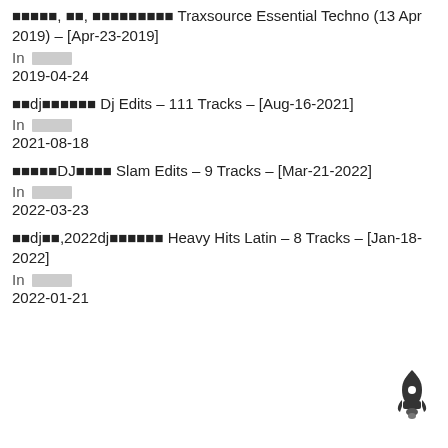█████, ██, █████████ Traxsource Essential Techno (13 Apr 2019) – [Apr-23-2019]
In ████
2019-04-24
██dj██████ Dj Edits – 111 Tracks – [Aug-16-2021]
In ████
2021-08-18
█████DJ████ Slam Edits – 9 Tracks – [Mar-21-2022]
In ████
2022-03-23
██dj██,2022dj██████ Heavy Hits Latin – 8 Tracks – [Jan-18-2022]
In ████
2022-01-21
[Figure (illustration): Rocket ship icon in dark grey/black, positioned bottom right]